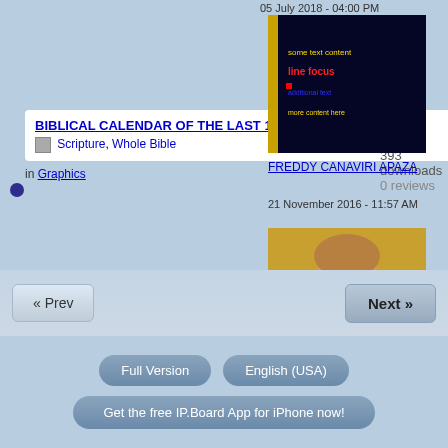05 July 2018 - 04:00 PM
[Figure (screenshot): Dark blue/black background with red and yellow text overlay, appears to be a book or media cover]
FREDDY CANAVIRI APAZA
21 November 2016 - 11:57 AM
BIBLICAL CALENDAR OF THE LAST 11 YEARS 1
Scripture, Whole Bible
in Graphics
393 downloads
0 reviews
[Figure (photo): Photo of a young man with light brown hair and goatee against a yellow background]
Josh Bond
09 February 2013 - 12:16 AM
Stalker, James - The Two St. Johns of the New Testament
Bible Characters
in Books
358 downloads
0 reviews
« Prev
Next »
Full Version
English (USA)
Get the free IP.Board App for iPhone now!